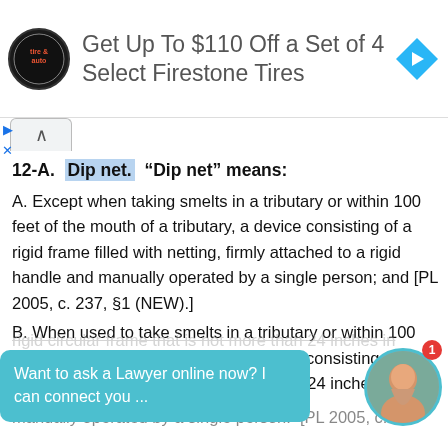[Figure (infographic): Advertisement banner: Pep Boys tire and auto logo circle, text 'Get Up To $110 Off a Set of 4 Select Firestone Tires', blue diamond arrow icon on right]
12-A. Dip net. "Dip net" means:
A. Except when taking smelts in a tributary or within 100 feet of the mouth of a tributary, a device consisting of a rigid frame filled with netting, firmly attached to a rigid handle and manually operated by a single person; and [PL 2005, c. 237, §1 (NEW).]
B. When used to take smelts in a tributary or within 100 feet of the mouth of a tributary, a device consisting of a rigid circular frame that is not more than 24 inches in ... o ... and manually operated by a single person. [PL 2005, c. 237
Want to ask a Lawyer online now? I can connect you ...